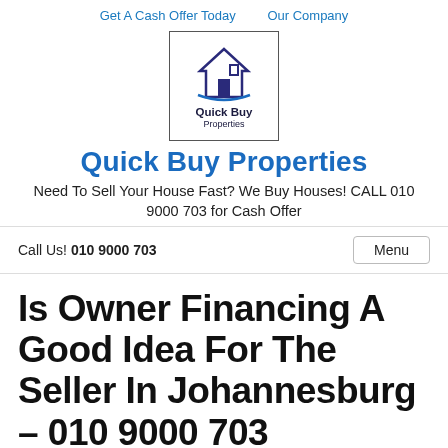Get A Cash Offer Today   Our Company
[Figure (logo): Quick Buy Properties logo: house icon with swoosh arc, text 'Quick Buy Properties']
Quick Buy Properties
Need To Sell Your House Fast? We Buy Houses! CALL 010 9000 703 for Cash Offer
Call Us! 010 9000 703
Is Owner Financing A Good Idea For The Seller In Johannesburg – 010 9000 703